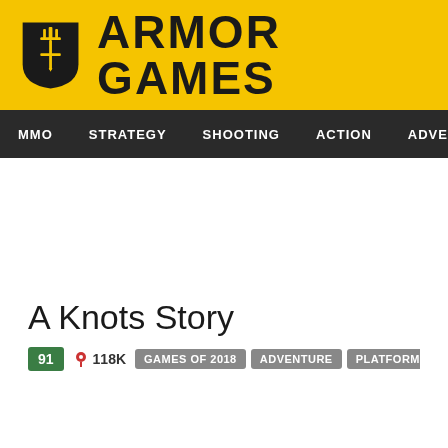ARMOR GAMES
MMO  STRATEGY  SHOOTING  ACTION  ADVENTURE  P
A Knots Story
91  118K  GAMES OF 2018  ADVENTURE  PLATFORM  KEYBOARD ONLY